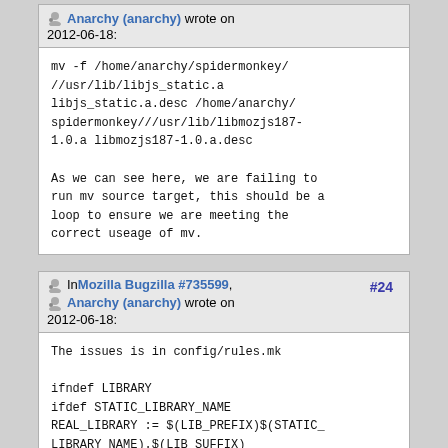Anarchy (anarchy) wrote on 2012-06-18:
mv -f /home/anarchy/spidermonkey///usr/lib/libjs_static.a libjs_static.a.desc /home/anarchy/spidermonkey///usr/lib/libmozjs187-1.0.a libmozjs187-1.0.a.desc

As we can see here, we are failing to run mv source target, this should be a loop to ensure we are meeting the correct useage of mv.
In Mozilla Bugzilla #735599, Anarchy (anarchy) wrote on 2012-06-18:
#24
The issues is in config/rules.mk

ifndef LIBRARY
ifdef STATIC_LIBRARY_NAME
REAL_LIBRARY := $(LIB_PREFIX)$(STATIC_LIBRARY_NAME).$(LIB_SUFFIX)
# Only build actual library if it is